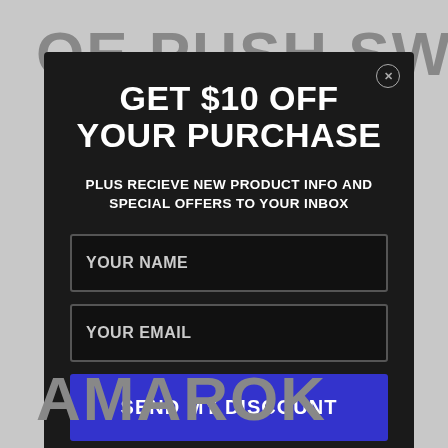OE PUSH SWITCH
GET $10 OFF YOUR PURCHASE
PLUS RECIEVE NEW PRODUCT INFO AND SPECIAL OFFERS TO YOUR INBOX
YOUR NAME
YOUR EMAIL
SEND MY DISCOUNT
AMAROK